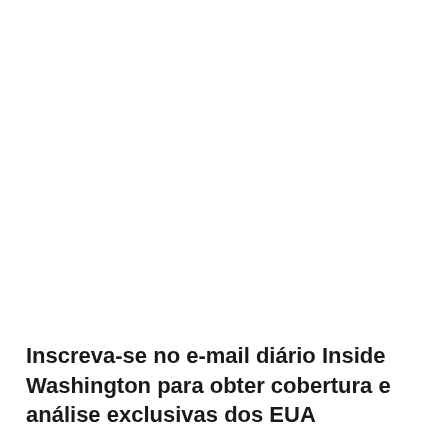Inscreva-se no e-mail diário Inside Washington para obter cobertura e análise exclusivas dos EUA